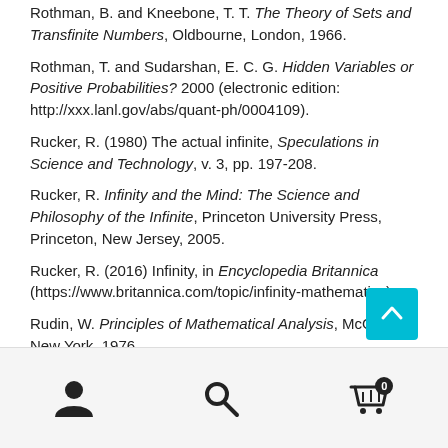Rothman, B. and Kneebone, T. T. The Theory of Sets and Transfinite Numbers, Oldbourne, London, 1966.
Rothman, T. and Sudarshan, E. C. G. Hidden Variables or Positive Probabilities? 2000 (electronic edition: http://xxx.lanl.gov/abs/quant-ph/0004109).
Rucker, R. (1980) The actual infinite, Speculations in Science and Technology, v. 3, pp. 197-208.
Rucker, R. Infinity and the Mind: The Science and Philosophy of the Infinite, Princeton University Press, Princeton, New Jersey, 2005.
Rucker, R. (2016) Infinity, in Encyclopedia Britannica (https://www.britannica.com/topic/infinity-mathematics).
Rudin, W. Principles of Mathematical Analysis, McGraw-New York, 1976.
[Figure (other): Bottom navigation bar with user icon, search icon, and shopping cart icon with badge showing 0]